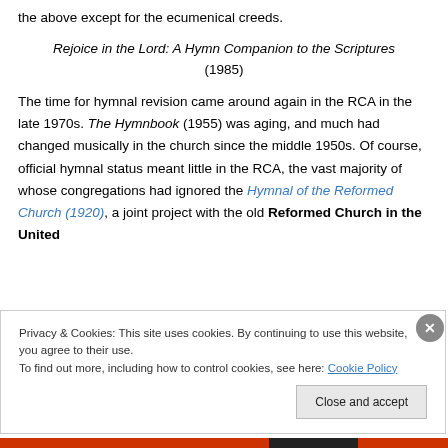the above except for the ecumenical creeds.
Rejoice in the Lord: A Hymn Companion to the Scriptures (1985)
The time for hymnal revision came around again in the RCA in the late 1970s. The Hymnbook (1955) was aging, and much had changed musically in the church since the middle 1950s. Of course, official hymnal status meant little in the RCA, the vast majority of whose congregations had ignored the Hymnal of the Reformed Church (1920), a joint project with the old Reformed Church in the United
Privacy & Cookies: This site uses cookies. By continuing to use this website, you agree to their use. To find out more, including how to control cookies, see here: Cookie Policy
Close and accept